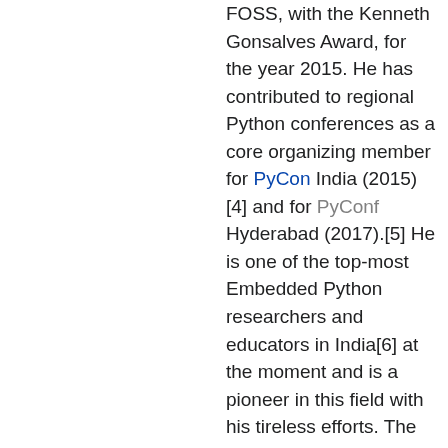FOSS, with the Kenneth Gonsalves Award, for the year 2015. He has contributed to regional Python conferences as a core organizing member for PyCon India (2015)[4] and for PyConf Hyderabad (2017).[5] He is one of the top-most Embedded Python researchers and educators in India[6] at the moment and is a pioneer in this field with his tireless efforts. The recommendation is mainly to acknowledge his efforts in making a local Python chapter successful and also to encourage his efforts with education of Embedded Python in the country - mainly among college